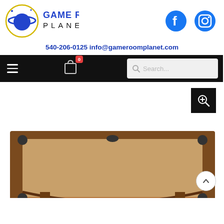[Figure (logo): Game Room Planet logo with planet/Saturn icon in yellow circle and blue text reading GAME ROOM PLANET]
[Figure (illustration): Facebook and Instagram social media icons in blue]
540-206-0125 info@gameroomplanet.com
[Figure (screenshot): Black navigation bar with hamburger menu, shopping bag icon with red badge showing 0, and search box]
[Figure (photo): Partial view of a wooden billiard/pool table with tan felt and decorative corner pockets, with a zoom-in button overlay and back-to-top arrow button]